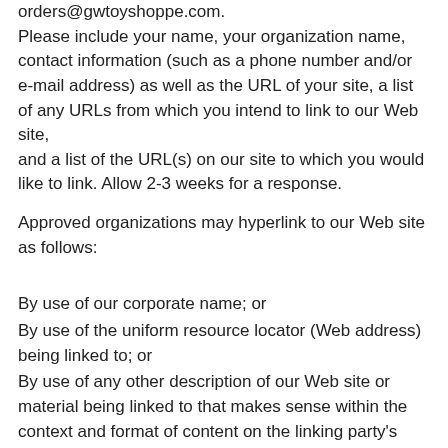orders@gwtoyshoppe.com. Please include your name, your organization name, contact information (such as a phone number and/or e-mail address) as well as the URL of your site, a list of any URLs from which you intend to link to our Web site, and a list of the URL(s) on our site to which you would like to link. Allow 2-3 weeks for a response.
Approved organizations may hyperlink to our Web site as follows:
By use of our corporate name; or
By use of the uniform resource locator (Web address) being linked to; or
By use of any other description of our Web site or material being linked to that makes sense within the context and format of content on the linking party's site.
No use of G. William Toy Shoppe's logo or other artwork will be...